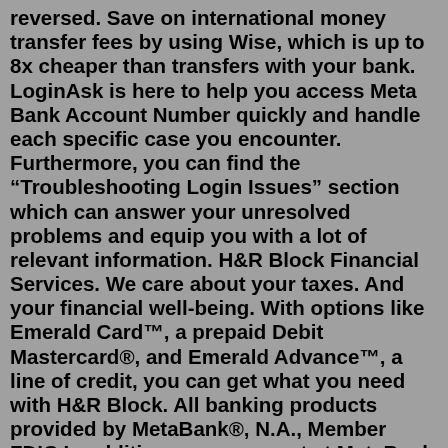reversed. Save on international money transfer fees by using Wise, which is up to 8x cheaper than transfers with your bank. LoginAsk is here to help you access Meta Bank Account Number quickly and handle each specific case you encounter. Furthermore, you can find the “Troubleshooting Login Issues” section which can answer your unresolved problems and equip you with a lot of relevant information. H&R Block Financial Services. We care about your taxes. And your financial well-being. With options like Emerald Card™, a prepaid Debit Mastercard®, and Emerald Advance™, a line of credit, you can get what you need with H&R Block. All banking products provided by MetaBank®, N.A., Member FDIC.In addition, your account at MetaBank will have a new account number How does MetaBank® protect my personal information? To protect your personal information from unauthorized The Netspend® All-Access® Account by MetaBank® is designed for consumers who want the convenience of paying with plastic but don’t want (or don’t